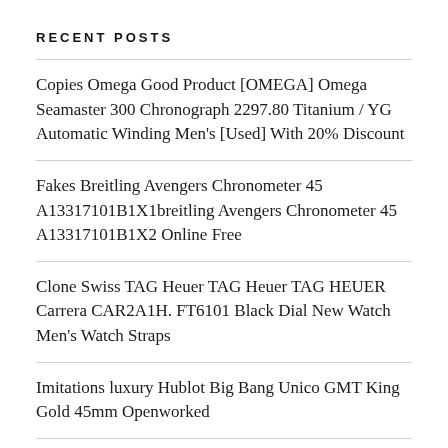RECENT POSTS
Copies Omega Good Product [OMEGA] Omega Seamaster 300 Chronograph 2297.80 Titanium / YG Automatic Winding Men's [Used] With 20% Discount
Fakes Breitling Avengers Chronometer 45 A13317101B1X1breitling Avengers Chronometer 45 A13317101B1X2 Online Free
Clone Swiss TAG Heuer TAG Heuer TAG HEUER Carrera CAR2A1H. FT6101 Black Dial New Watch Men's Watch Straps
Imitations luxury Hublot Big Bang Unico GMT King Gold 45mm Openworked
Fake Rolex 41mm Datejust II 116333 Grey with Green At A Low Price